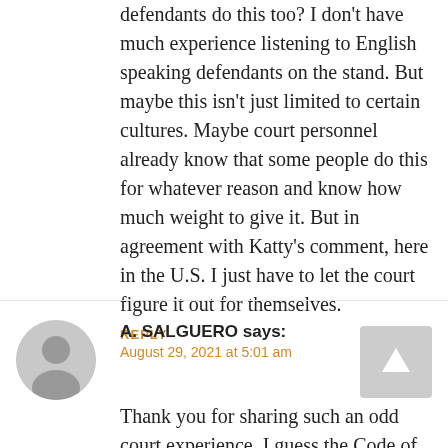defendants do this too? I don't have much experience listening to English speaking defendants on the stand. But maybe this isn't just limited to certain cultures. Maybe court personnel already know that some people do this for whatever reason and know how much weight to give it. But in agreement with Katty's comment, here in the U.S. I just have to let the court figure it out for themselves.
REPLY
A. SALGUERO says:
August 29, 2021 at 5:01 am
Thank you for sharing such an odd court experience. I guess the Code of Ethics for